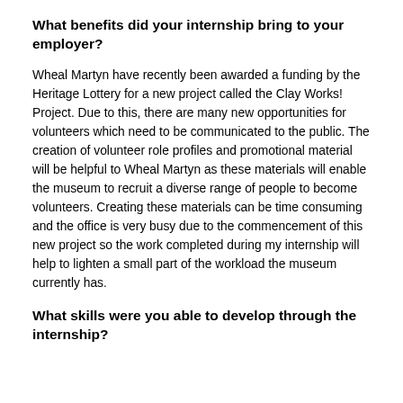What benefits did your internship bring to your employer?
Wheal Martyn have recently been awarded a funding by the Heritage Lottery for a new project called the Clay Works! Project. Due to this, there are many new opportunities for volunteers which need to be communicated to the public. The creation of volunteer role profiles and promotional material will be helpful to Wheal Martyn as these materials will enable the museum to recruit a diverse range of people to become volunteers. Creating these materials can be time consuming and the office is very busy due to the commencement of this new project so the work completed during my internship will help to lighten a small part of the workload the museum currently has.
What skills were you able to develop through the internship?